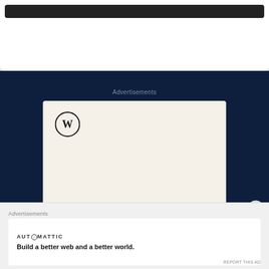[Figure (screenshot): Top portion of a white rounded card with a dark bar at the top, partially visible]
Advertisements
[Figure (illustration): WordPress advertisement card with cream/beige background, WordPress logo (circle with W), tagline 'Professionally designed sites in less than a week', and a green CTA button at the bottom]
[Figure (other): Close/X button circle icon in bottom-right area]
Advertisements
AUTOMATTIC
Build a better web and a better world.
REPORT THIS AD